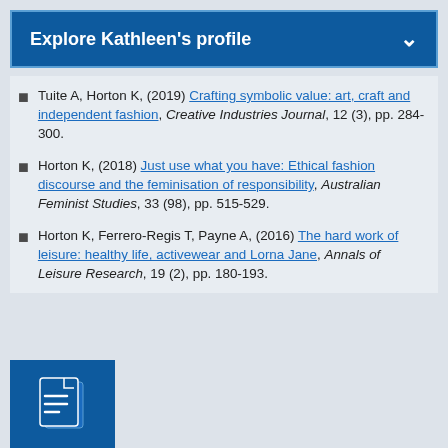Explore Kathleen's profile
Tuite A, Horton K, (2019) Crafting symbolic value: art, craft and independent fashion, Creative Industries Journal, 12 (3), pp. 284-300.
Horton K, (2018) Just use what you have: Ethical fashion discourse and the feminisation of responsibility, Australian Feminist Studies, 33 (98), pp. 515-529.
Horton K, Ferrero-Regis T, Payne A, (2016) The hard work of leisure: healthy life, activewear and Lorna Jane, Annals of Leisure Research, 19 (2), pp. 180-193.
[Figure (illustration): Document/file icon in blue]